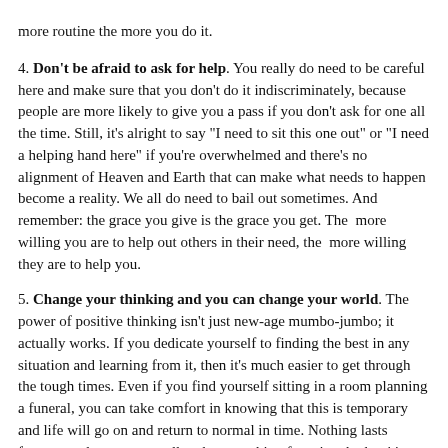more routine the more you do it.
4. Don't be afraid to ask for help. You really do need to be careful here and make sure that you don't do it indiscriminately, because people are more likely to give you a pass if you don't ask for one all the time. Still, it's alright to say "I need to sit this one out" or "I need a helping hand here" if you're overwhelmed and there's no alignment of Heaven and Earth that can make what needs to happen become a reality. We all do need to bail out sometimes. And remember: the grace you give is the grace you get. The more willing you are to help out others in their need, the more willing they are to help you.
5. Change your thinking and you can change your world. The power of positive thinking isn't just new-age mumbo-jumbo; it actually works. If you dedicate yourself to finding the best in any situation and learning from it, then it's much easier to get through the tough times. Even if you find yourself sitting in a room planning a funeral, you can take comfort in knowing that this is temporary and life will go on and return to normal in time. Nothing lasts forever, and you can usually take something from it, whether it's a lesson, helping others, improving life, or planning for the future.